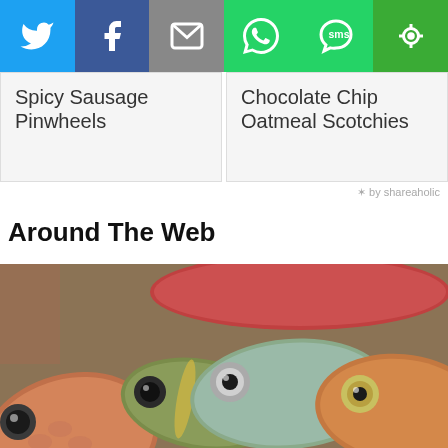[Figure (screenshot): Social share bar with Twitter, Facebook, Email, WhatsApp, SMS, and Shareaholic buttons]
Spicy Sausage Pinwheels
Chocolate Chip Oatmeal Scotchies
✶ by shareaholic
Around The Web
[Figure (photo): Close-up photo of multiple fresh fish heads piled together, showing eyes and scales in vibrant colors]